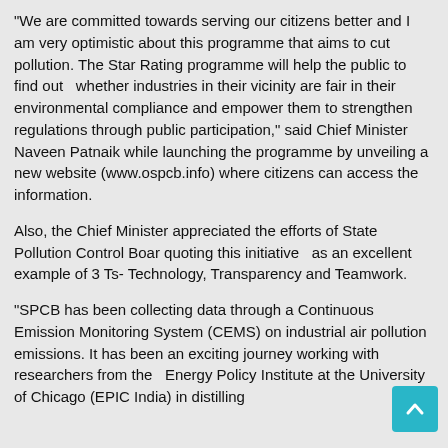"We are committed towards serving our citizens better and I am very optimistic about this programme that aims to cut pollution. The Star Rating programme will help the public to find out whether industries in their vicinity are fair in their environmental compliance and empower them to strengthen regulations through public participation," said Chief Minister Naveen Patnaik while launching the programme by unveiling a new website (www.ospcb.info) where citizens can access the information.
Also, the Chief Minister appreciated the efforts of State Pollution Control Boar quoting this initiative as an excellent example of 3 Ts- Technology, Transparency and Teamwork.
"SPCB has been collecting data through a Continuous Emission Monitoring System (CEMS) on industrial air pollution emissions. It has been an exciting journey working with researchers from the Energy Policy Institute at the University of Chicago (EPIC India) in distilling